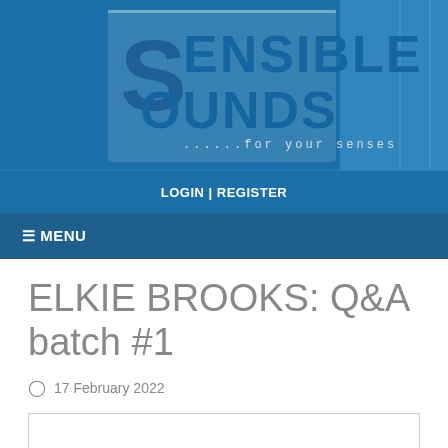[Figure (logo): Sensible Sounds website logo banner with blue background and the text 'SENSIBLE SOUNDS ...for your senses']
LOGIN | REGISTER
☰ MENU
ELKIE BROOKS: Q&A batch #1
17 February 2022
[Figure (other): Empty white box with border, likely a placeholder for an embedded media or image]